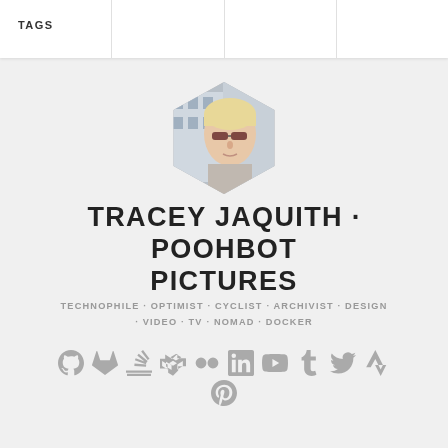TAGS
[Figure (photo): Hexagonal profile photo of Tracey Jaquith, a person with short blonde hair wearing dark sunglasses]
TRACEY JAQUITH · POOHBOT PICTURES
TECHNOPHILE · OPTIMIST · CYCLIST · ARCHIVIST · DESIGN · VIDEO · TV · NOMAD · DOCKER
[Figure (infographic): Row of social media icons: GitHub, GitLab, Stack Overflow, CodePen, Flickr, LinkedIn, YouTube, Tumblr, Twitter, Strava, Pinterest]